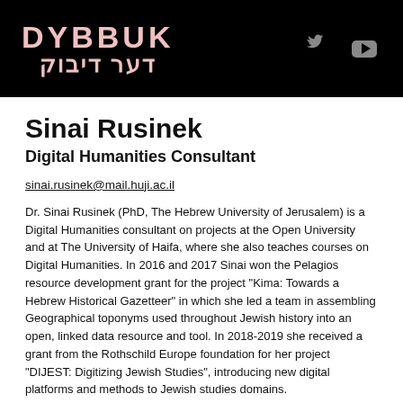DYBBUK / דער דיבוק
Sinai Rusinek
Digital Humanities Consultant
sinai.rusinek@mail.huji.ac.il
Dr. Sinai Rusinek (PhD, The Hebrew University of Jerusalem) is a Digital Humanities consultant on projects at the Open University and at The University of Haifa, where she also teaches courses on Digital Humanities. In 2016 and 2017 Sinai won the Pelagios resource development grant for the project "Kima: Towards a Hebrew Historical Gazetteer" in which she led a team in assembling Geographical toponyms used throughout Jewish history into an open, linked data resource and tool. In 2018-2019 she received a grant from the Rothschild Europe foundation for her project "DIJEST: Digitizing Jewish Studies", introducing new digital platforms and methods to Jewish studies domains.
In the DYBBUK project, Sinai will be responsible for modelling, integrating and implementing the digital aspects of the...